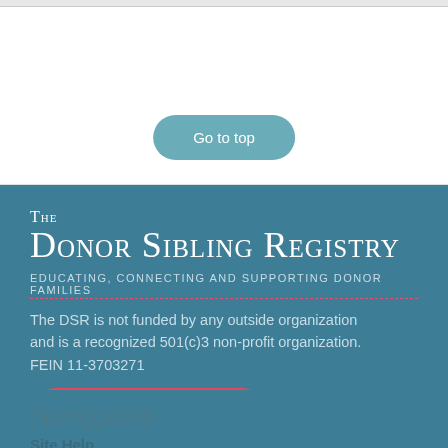Go to top
The Donor Sibling Registry
EDUCATING, CONNECTING AND SUPPORTING DONOR FAMILIES
The DSR is not funded by any outside organization and is a recognized 501(c)3 non-profit organization. FEIN 11-3703271
Donate
Navigation
Site Help